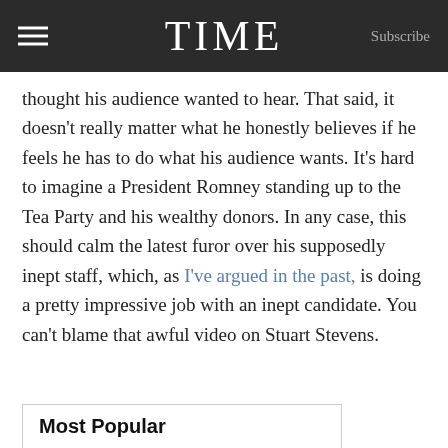TIME
thought his audience wanted to hear. That said, it doesn’t really matter what he honestly believes if he feels he has to do what his audience wants. It’s hard to imagine a President Romney standing up to the Tea Party and his wealthy donors. In any case, this should calm the latest furor over his supposedly inept staff, which, as I’ve argued in the past, is doing a pretty impressive job with an inept candidate. You can’t blame that awful video on Stuart Stevens.
Most Popular